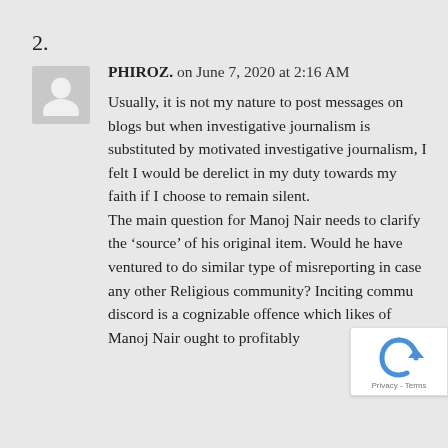2.
PHIROZ. on June 7, 2020 at 2:16 AM

Usually, it is not my nature to post messages on blogs but when investigative journalism is substituted by motivated investigative journalism, I felt I would be derelict in my duty towards my faith if I choose to remain silent.
The main question for Manoj Nair needs to clarify the ‘source’ of his original item. Would he have ventured to do similar type of misreporting in case any other Religious community? Inciting commu discord is a cognizable offence which likes of Manoj Nair ought to profitably